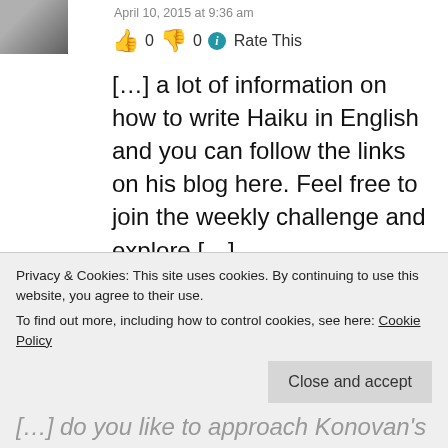[Figure (photo): Partial avatar image at top left]
April 10, 2015 at 9:36 am
👍 0 👎 0 ℹ Rate This
[…] a lot of information on how to write Haiku in English and you can follow the links on his blog here. Feel free to join the weekly challenge and explore […]
★ Like
[Figure (photo): Avatar photo of person with reddish-brown tones]
Haiku Prompt Challenge Habits | Mad
Privacy & Cookies: This site uses cookies. By continuing to use this website, you agree to their use. To find out more, including how to control cookies, see here: Cookie Policy
Close and accept
[…] do you like to approach Konovan's